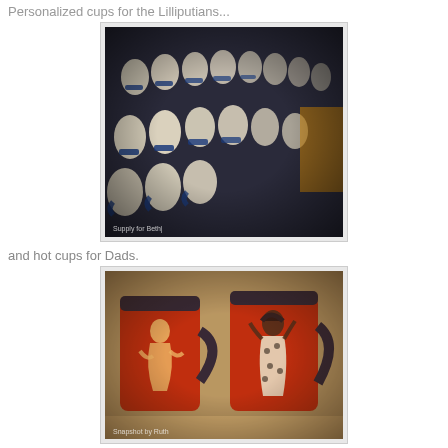Personalized cups for the Lilliputians...
[Figure (photo): Close-up photo of rows of small white personalized cups/mugs displayed on a dark surface with blue accents, blurred/bokeh style image with watermark text at bottom left]
and hot cups for Dads.
[Figure (photo): Photo of two red mugs featuring pin-up style illustrations of women in stylized poses, displayed on a shelf with dark handles, warm toned vintage-style photo with watermark at bottom]